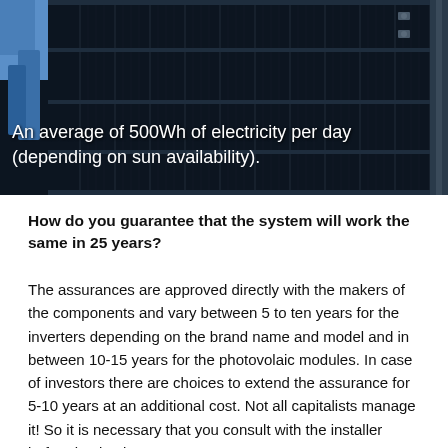[Figure (photo): Close-up photo of solar panels on a roof or vehicle, dark black panels with a blue sky and equipment visible. White text overlay reads: An average of 500Wh of electricity per day (depending on sun availability).]
How do you guarantee that the system will work the same in 25 years?
The assurances are approved directly with the makers of the components and vary between 5 to ten years for the inverters depending on the brand name and model and in between 10-15 years for the photovolaic modules. In case of investors there are choices to extend the assurance for 5-10 years at an additional cost. Not all capitalists manage it! So it is necessary that you consult with the installer before buying it..